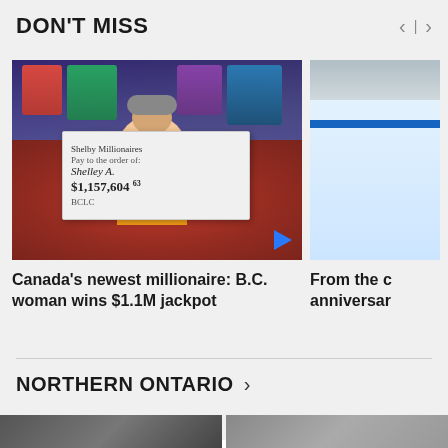DON'T MISS
[Figure (photo): Woman holding a large winner's check at a casino showing $1,157,604 to Shelley A., with casino slot machines in the background. A blue play button triangle is visible in the bottom right corner of the image.]
Canada's newest millionaire: B.C. woman wins $1.1M jackpot
[Figure (photo): Partial view of what appears to be an ice rink or similar indoor sports facility, with a blue line visible.]
From the c anniversar
NORTHERN ONTARIO >
[Figure (photo): Bottom strip showing partial images of two photos below the Northern Ontario section header.]